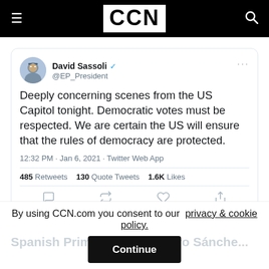CCN
[Figure (screenshot): Tweet from David Sassoli @EP_President: Deeply concerning scenes from the US Capitol tonight. Democratic votes must be respected. We are certain the US will ensure that the rules of democracy are protected. 12:32 PM · Jan 6, 2021 · Twitter Web App. 485 Retweets 130 Quote Tweets 1.6K Likes]
Europe is not down. | Source: Twitter
By using CCN.com you consent to our privacy & cookie policy.
Continue